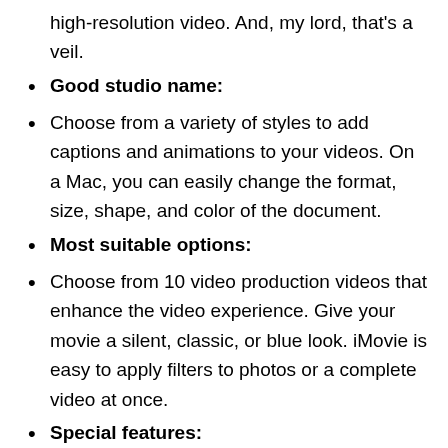high-resolution video. And, my lord, that's a veil.
Good studio name:
Choose from a variety of styles to add captions and animations to your videos. On a Mac, you can easily change the format, size, shape, and color of the document.
Most suitable options:
Choose from 10 video production videos that enhance the video experience. Give your movie a silent, classic, or blue look. iMovie is easy to apply filters to photos or a complete video at once.
Special features:
Adjust action plans by minimizing them. Let the